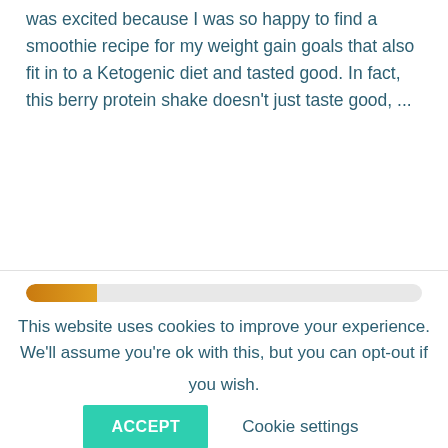was excited because I was so happy to find a smoothie recipe for my weight gain goals that also fit in to a Ketogenic diet and tasted good. In fact, this berry protein shake doesn't just taste good, ...
Read More »
[Figure (other): Progress bar showing partial fill in orange/amber color against a light grey background]
This website uses cookies to improve your experience. We'll assume you're ok with this, but you can opt-out if you wish.
ACCEPT
Cookie settings
Reject
Read More